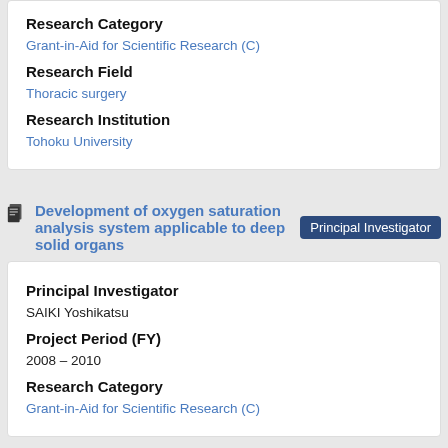Research Category
Grant-in-Aid for Scientific Research (C)
Research Field
Thoracic surgery
Research Institution
Tohoku University
Development of oxygen saturation analysis system applicable to deep solid organs
Principal Investigator
Principal Investigator
SAIKI Yoshikatsu
Project Period (FY)
2008 – 2010
Research Category
Grant-in-Aid for Scientific Research (C)